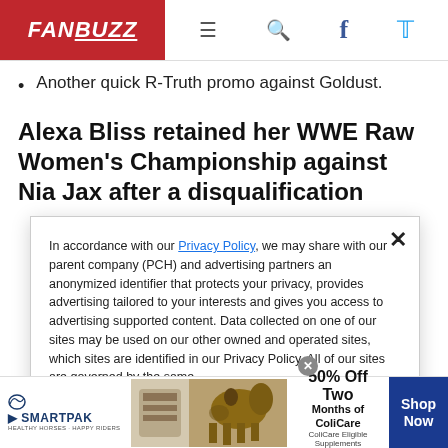FANBUZZ
Another quick R-Truth promo against Goldust.
Alexa Bliss retained her WWE Raw Women's Championship against Nia Jax after a disqualification
In accordance with our Privacy Policy, we may share with our parent company (PCH) and advertising partners an anonymized identifier that protects your privacy, provides advertising tailored to your interests and gives you access to advertising supported content. Data collected on one of our sites may be used on our other owned and operated sites, which sites are identified in our Privacy Policy. All of our sites are governed by the same
[Figure (infographic): SmartPak advertisement banner: 50% Off Two Months of ColiCare, ColiCare Eligible Supplements, CODE: COLICARE10, with Shop Now button]